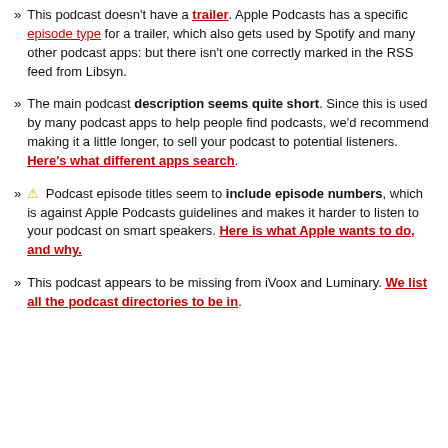This podcast doesn't have a trailer. Apple Podcasts has a specific episode type for a trailer, which also gets used by Spotify and many other podcast apps: but there isn't one correctly marked in the RSS feed from Libsyn.
The main podcast description seems quite short. Since this is used by many podcast apps to help people find podcasts, we'd recommend making it a little longer, to sell your podcast to potential listeners. Here's what different apps search.
⚠ Podcast episode titles seem to include episode numbers, which is against Apple Podcasts guidelines and makes it harder to listen to your podcast on smart speakers. Here is what Apple wants to do, and why.
This podcast appears to be missing from iVoox and Luminary. We list all the podcast directories to be in.